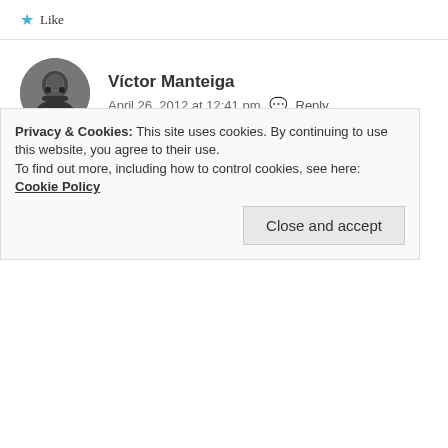★ Like
Víctor Manteiga
April 26, 2012 at 12:41 pm 💬 Reply
Thanks a lot for liking my post! I see you've travelled a lot! 🙂
★ Like
Privacy & Cookies: This site uses cookies. By continuing to use this website, you agree to their use.
To find out more, including how to control cookies, see here: Cookie Policy
Close and accept